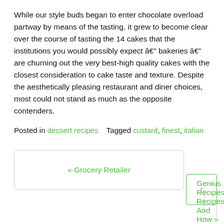While our style buds began to enter chocolate overload partway by means of the tasting, it grew to become clear over the course of tasting the 14 cakes that the institutions you would possibly expect â€" bakeries â€" are churning out the very best-high quality cakes with the closest consideration to cake taste and texture. Despite the aesthetically pleasing restaurant and diner choices, most could not stand as much as the opposite contenders.
Posted in dessert recipes    Tagged custard, finest, italian
« Grocery Retailer
Genius Recipes Recipes And How »